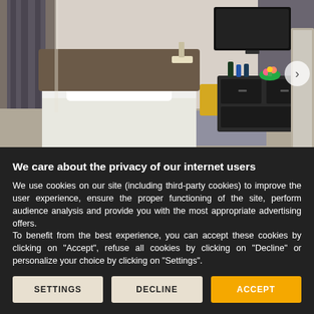[Figure (photo): Hotel room interior showing a single bed with white bedding and pillow, dark headboard, a dark dresser/sideboard with a vase of flowers and bottles, a flat-screen TV mounted on the wall, gray curtains, and patterned carpet. A yellow chair is partially visible.]
We care about the privacy of our internet users
We use cookies on our site (including third-party cookies) to improve the user experience, ensure the proper functioning of the site, perform audience analysis and provide you with the most appropriate advertising offers.
To benefit from the best experience, you can accept these cookies by clicking on "Accept", refuse all cookies by clicking on "Decline" or personalize your choice by clicking on "Settings".
SETTINGS | DECLINE | ACCEPT